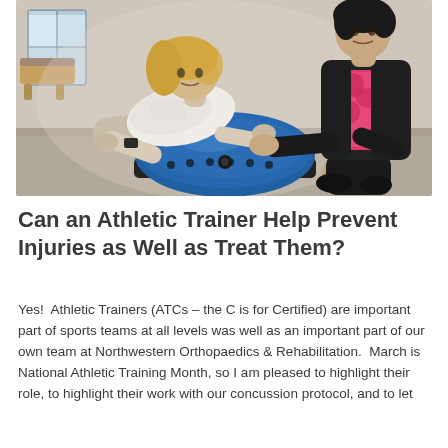[Figure (photo): Two women in a rehabilitation clinic setting. One woman in a white shirt is in a plank/push-up position with hands on a BOSU balance trainer ball. A second woman in a black cardigan over a pink patterned top kneels beside her, guiding or spotting her on the BOSU ball exercise.]
Can an Athletic Trainer Help Prevent Injuries as Well as Treat Them?
Yes!  Athletic Trainers (ATCs – the C is for Certified) are important part of sports teams at all levels was well as an important part of our own team at Northwestern Orthopaedics & Rehabilitation.  March is National Athletic Training Month, so I am pleased to highlight their role, to highlight their work with our concussion protocol, and to let